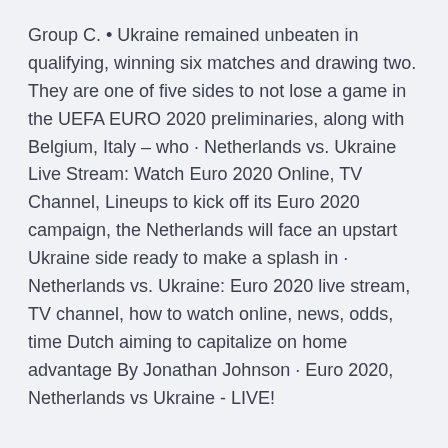Group C. • Ukraine remained unbeaten in qualifying, winning six matches and drawing two. They are one of five sides to not lose a game in the UEFA EURO 2020 preliminaries, along with Belgium, Italy – who · Netherlands vs. Ukraine Live Stream: Watch Euro 2020 Online, TV Channel, Lineups to kick off its Euro 2020 campaign, the Netherlands will face an upstart Ukraine side ready to make a splash in · Netherlands vs. Ukraine: Euro 2020 live stream, TV channel, how to watch online, news, odds, time Dutch aiming to capitalize on home advantage By Jonathan Johnson · Euro 2020, Netherlands vs Ukraine - LIVE!
The qualifiers for the 16th edition of the European Championship